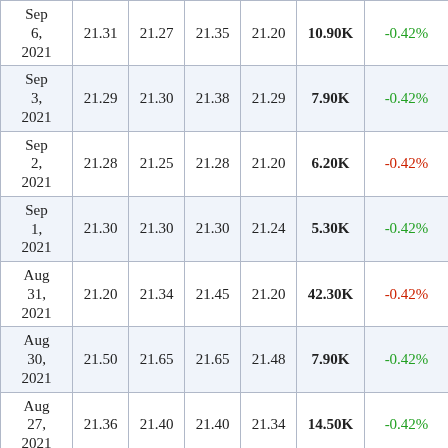| Date | Open | Close | High | Low | Volume | Change% |
| --- | --- | --- | --- | --- | --- | --- |
| Sep 6, 2021 | 21.31 | 21.27 | 21.35 | 21.20 | 10.90K | -0.42% |
| Sep 3, 2021 | 21.29 | 21.30 | 21.38 | 21.29 | 7.90K | -0.42% |
| Sep 2, 2021 | 21.28 | 21.25 | 21.28 | 21.20 | 6.20K | -0.42% |
| Sep 1, 2021 | 21.30 | 21.30 | 21.30 | 21.24 | 5.30K | -0.42% |
| Aug 31, 2021 | 21.20 | 21.34 | 21.45 | 21.20 | 42.30K | -0.42% |
| Aug 30, 2021 | 21.50 | 21.65 | 21.65 | 21.48 | 7.90K | -0.42% |
| Aug 27, 2021 | 21.36 | 21.40 | 21.40 | 21.34 | 14.50K | -0.42% |
| Aug 26, 2021 | 21.35 | 21.40 | 21.45 | 21.35 | 10.70K | -0.42% |